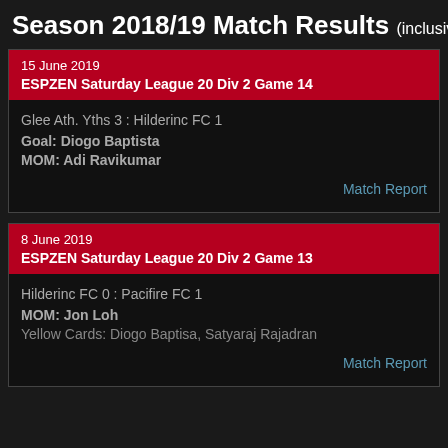Season 2018/19 Match Results (inclusive of frie...
15 June 2019
ESPZEN Saturday League 20 Div 2 Game 14
Glee Ath. Yths 3 : Hilderinc FC 1
Goal: Diogo Baptista
MOM: Adi Ravikumar
Match Report
8 June 2019
ESPZEN Saturday League 20 Div 2 Game 13
Hilderinc FC 0 : Pacifire FC 1
MOM: Jon Loh
Yellow Cards: Diogo Baptisa, Satyaraj Rajadran
Match Report